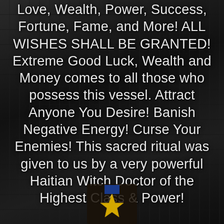Love, Wealth, Power, Success, Fortune, Fame, and More! ALL WISHES SHALL BE GRANTED! Extreme Good Luck, Wealth and Money comes to all those who possess this vessel. Attract Anyone You Desire! Banish Negative Energy! Curse Your Enemies! This sacred ritual was given to us by a very powerful Haitian Witch Doctor of the Highest Class & Power!
[Figure (illustration): A golden star/pentagram symbol at the bottom center of the page, partially visible, with dark background.]